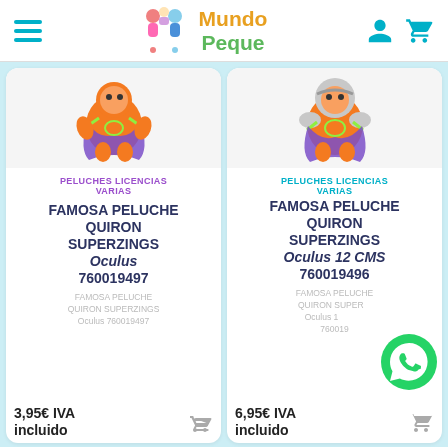Mundo Peque
[Figure (screenshot): Product card left: orange superhero plush toy (Quiron Superzings Oculus)]
PELUCHES LICENCIAS VARIAS
FAMOSA PELUCHE QUIRON SUPERZINGS Oculus 760019497
FAMOSA PELUCHE QUIRON SUPERZINGS Oculus 760019497
3,95€ IVA incluido
[Figure (screenshot): Product card right: orange superhero plush toy with helmet (Quiron Superzings Oculus 12 CMS)]
PELUCHES LICENCIAS VARIAS
FAMOSA PELUCHE QUIRON SUPERZINGS Oculus 12 CMS 760019496
FAMOSA PELUCHE QUIRON SUPERZINGS Oculus 12 760019
6,95€ IVA incluido